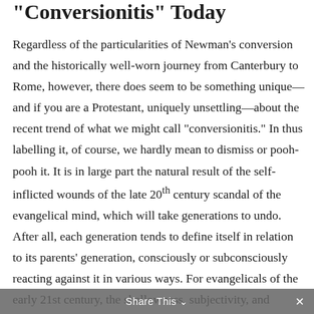“Conversionitis” Today
Regardless of the particularities of Newman’s conversion and the historically well-worn journey from Canterbury to Rome, however, there does seem to be something unique—and if you are a Protestant, uniquely unsettling—about the recent trend of what we might call “conversionitis.” In thus labelling it, of course, we hardly mean to dismiss or pooh-pooh it. It is in large part the natural result of the self-inflicted wounds of the late 20th century scandal of the evangelical mind, which will take generations to undo. After all, each generation tends to define itself in relation to its parents’ generation, consciously or subconsciously reacting against it in various ways. For evangelicals of the early 21st century, the shallowness, subjectivity, and hypocrisy of Boomer-era
Share This ×